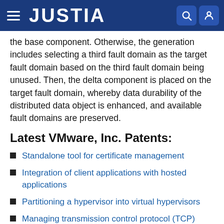JUSTIA
the base component. Otherwise, the generation includes selecting a third fault domain as the target fault domain based on the third fault domain being unused. Then, the delta component is placed on the target fault domain, whereby data durability of the distributed data object is enhanced, and available fault domains are preserved.
Latest VMware, Inc. Patents:
Standalone tool for certificate management
Integration of client applications with hosted applications
Partitioning a hypervisor into virtual hypervisors
Managing transmission control protocol (TCP) maximum segment size (MSS) values for multiple tunnels supported by a computing site gateway